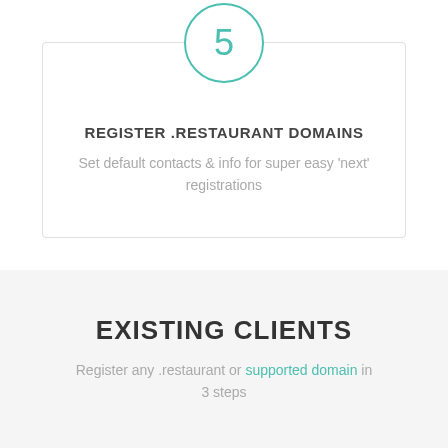[Figure (infographic): Step 5 card with teal circle containing the number 5, bordered card with title and description text]
REGISTER .RESTAURANT DOMAINS
Set default contacts & info for super easy 'next' registrations
EXISTING CLIENTS
Register any .restaurant or supported domain in 3 steps